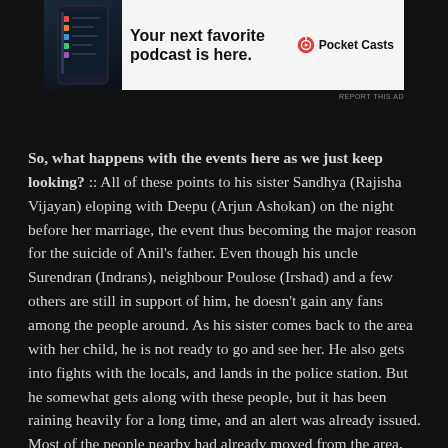[Figure (other): Advertisement banner for Pocket Casts podcast app showing a phone screenshot and the text 'Your next favorite podcast is here.' with the Pocket Casts logo]
REPORT THIS AD
So, what happens with the events here as we just keep looking? :: All of these points to his sister Sandhya (Rajisha Vijayan) eloping with Deepu (Arjun Ashokan) on the night before her marriage, the event thus becoming the major reason for the suicide of Anil's father. Even though his uncle Surendran (Indrans), neighbour Poulose (Irshad) and a few others are still in support of him, he doesn't gain any fans among the people around. As his sister comes back to the area with her child, he is not ready to go and see her. He also gets into fights with the locals, and lands in the police station. But he somewhat gets along with these people, but it has been raining heavily for a long time, and an alert was already issued. Most of the people nearby had already moved from the area, and Anil's neighbours plan to get out there the very next morning. Anil is adamant that he won't leave his house, despite the warnings of his mother. But the landslide occurs during that night, and